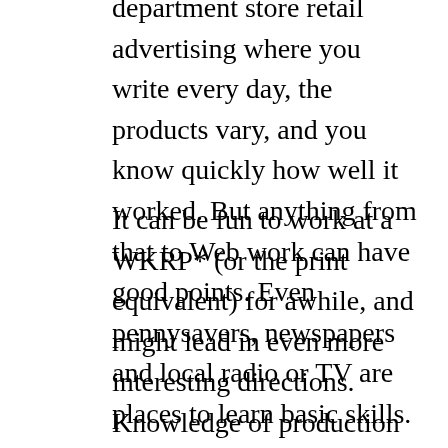department store retail advertising where you write every day, the products vary, and you know quickly how well it worked. But anything from that to Web work can have good points. Even pennysavers, newspapers and local radio or TV are places to learn basic skills.
It can be fun to work at a WKRP* (or the print equivalent) for awhile, and might lead in even more interesting directions. Knowledge of production tools and techniques can also be helpful, but agencies have people who specialize in that. Also note that most creative directors feel that a good print copywriter can learn to write TV commercials more easily than a TV writer can learn to write for print. (*WKRP...